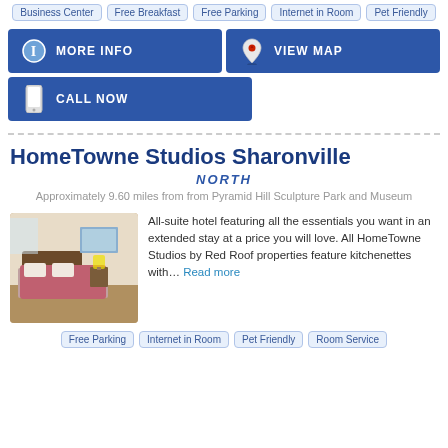Business Center  Free Breakfast  Free Parking  Internet in Room
Pet Friendly
[Figure (infographic): Blue button: MORE INFO with info icon]
[Figure (infographic): Blue button: VIEW MAP with map pin icon]
[Figure (infographic): Blue button: CALL NOW with phone icon]
HomeTowne Studios Sharonville
NORTH
Approximately 9.60 miles from from Pyramid Hill Sculpture Park and Museum
[Figure (photo): Hotel room interior with bed covered in pink/red bedspread]
All-suite hotel featuring all the essentials you want in an extended stay at a price you will love. All HomeTowne Studios by Red Roof properties feature kitchenettes with... Read more
Free Parking  Internet in Room  Pet Friendly  Room Service